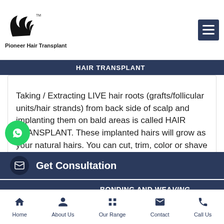[Figure (logo): Pioneer Hair Transplant logo with stylized wing/hair graphic and TM mark]
HAIR TRANSPLANT
Taking / Extracting LIVE hair roots (grafts/follicular units/hair strands) from back side of scalp and implanting them on bald areas is called HAIR TRANSPLANT. These implanted hairs will grow as your natural hairs. You can cut, trim, color or shave them, they would grow normally again. Pioneer is one of the best hair transplant centers in India and we r best services at reasonable cost with best come
Get Consultation
BONDING AND WEAVING
Home  About Us  Our Range  Contact  Call Us